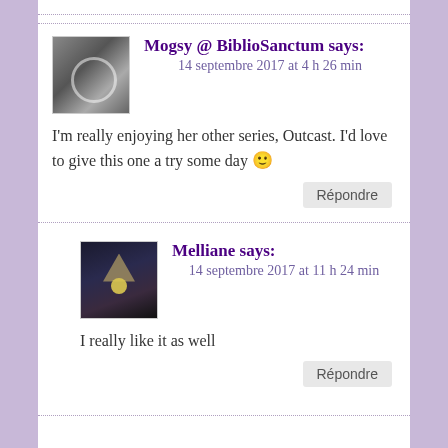Mogsy @ BiblioSanctum says:
14 septembre 2017 at 4 h 26 min

I'm really enjoying her other series, Outcast. I'd love to give this one a try some day 🙂
Répondre
Melliane says:
14 septembre 2017 at 11 h 24 min

I really like it as well
Répondre